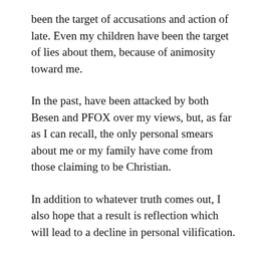been the target of accusations and action of late. Even my children have been the target of lies about them, because of animosity toward me.
In the past, have been attacked by both Besen and PFOX over my views, but, as far as I can recall, the only personal smears about me or my family have come from those claiming to be Christian.
In addition to whatever truth comes out, I also hope that a result is reflection which will lead to a decline in personal vilification.